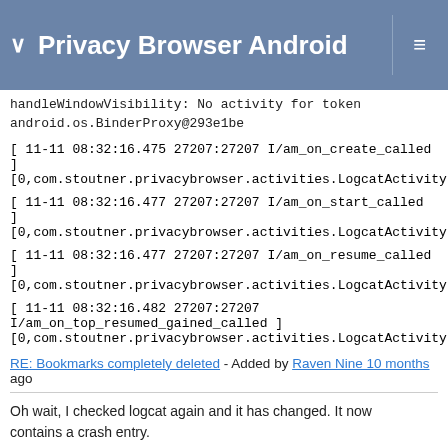Privacy Browser Android
handleWindowVisibility: No activity for token android.os.BinderProxy@293e1be
[ 11-11 08:32:16.475 27207:27207 I/am_on_create_called ]
[0,com.stoutner.privacybrowser.activities.LogcatActivity,performCreate
[ 11-11 08:32:16.477 27207:27207 I/am_on_start_called ]
[0,com.stoutner.privacybrowser.activities.LogcatActivity,handleStartAc
[ 11-11 08:32:16.477 27207:27207 I/am_on_resume_called ]
[0,com.stoutner.privacybrowser.activities.LogcatActivity,RESUME_ACT
[ 11-11 08:32:16.482 27207:27207
I/am_on_top_resumed_gained_called ]
[0,com.stoutner.privacybrowser.activities.LogcatActivity,topStateChang
RE: Bookmarks completely deleted - Added by Raven Nine 10 months ago
Oh wait, I checked logcat again and it has changed. It now contains a crash entry.
---------- beginning of crash
[ 11-11 08:31:52.940 10398:10398 E/AndroidRuntime ]
FATAL EXCEPTION: main
Process: com.stoutner.privacybrowser.standard, PID: 10398